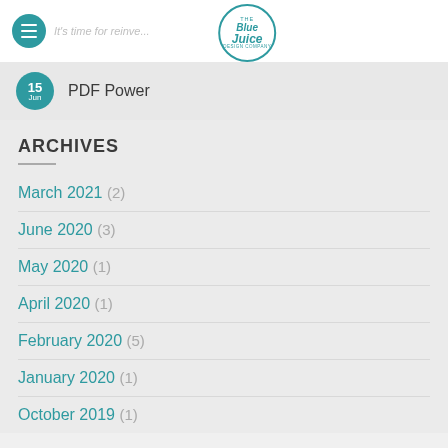The Blue Juice Design Company — It's time for reinve...
15 Jun — PDF Power
ARCHIVES
March 2021 (2)
June 2020 (3)
May 2020 (1)
April 2020 (1)
February 2020 (5)
January 2020 (1)
October 2019 (1)